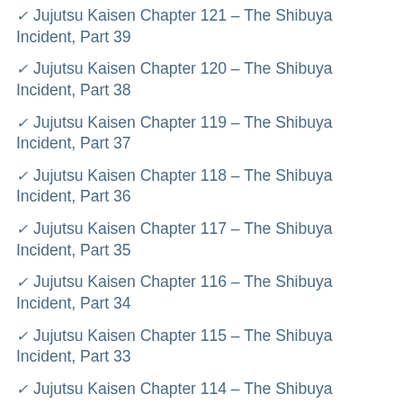Jujutsu Kaisen Chapter 121 – The Shibuya Incident, Part 39
Jujutsu Kaisen Chapter 120 – The Shibuya Incident, Part 38
Jujutsu Kaisen Chapter 119 – The Shibuya Incident, Part 37
Jujutsu Kaisen Chapter 118 – The Shibuya Incident, Part 36
Jujutsu Kaisen Chapter 117 – The Shibuya Incident, Part 35
Jujutsu Kaisen Chapter 116 – The Shibuya Incident, Part 34
Jujutsu Kaisen Chapter 115 – The Shibuya Incident, Part 33
Jujutsu Kaisen Chapter 114 – The Shibuya Incident, Part 32
Jujutsu Kaisen Chapter 113 – The Shibuya Incident, Part 31
Jujutsu Kaisen Chapter 112 – The Shibuya